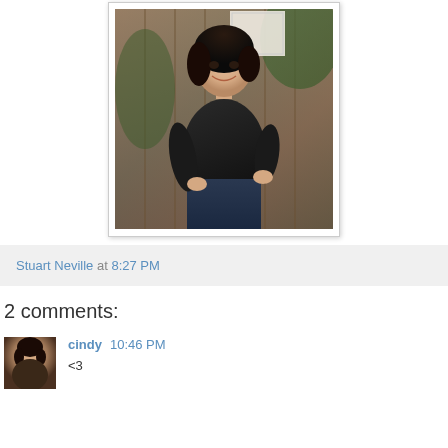[Figure (photo): A woman with dark curly hair wearing a black wrap top and jeans, standing in front of a wooden fence with greenery. She is smiling and posing with one hand on her hip.]
Stuart Neville at 8:27 PM
2 comments:
[Figure (photo): Small avatar photo of a woman with dark hair]
cindy 10:46 PM
<3